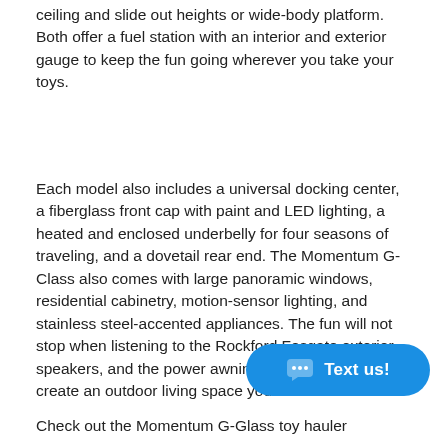ceiling and slide out heights or wide-body platform. Both offer a fuel station with an interior and exterior gauge to keep the fun going wherever you take your toys.
Each model also includes a universal docking center, a fiberglass front cap with paint and LED lighting, a heated and enclosed underbelly for four seasons of traveling, and a dovetail rear end. The Momentum G-Class also comes with large panoramic windows, residential cabinetry, motion-sensor lighting, and stainless steel-accented appliances. The fun will not stop when listening to the Rockford Fosgate exterior speakers, and the power awning with LED lighting will create an outdoor living space you are sure to love.
[Figure (other): Blue rounded chat button with speech bubble icon and 'Text us!' label]
Check out the Momentum G-Glass toy hauler